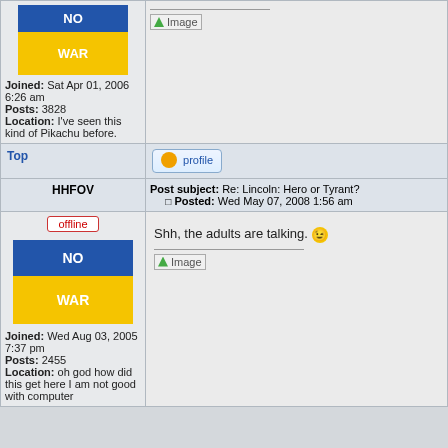[Figure (screenshot): Forum post layout showing two user posts about Lincoln: Hero or Tyrant? thread]
Joined: Sat Apr 01, 2006 6:26 am
Posts: 3828
Location: I've seen this kind of Pikachu before.
Top
profile
HHFOV
Post subject: Re: Lincoln: Hero or Tyrant?
Posted: Wed May 07, 2008 1:56 am
offline
Shh, the adults are talking. 😊
Joined: Wed Aug 03, 2005 7:37 pm
Posts: 2455
Location: oh god how did this get here I am not good with computer